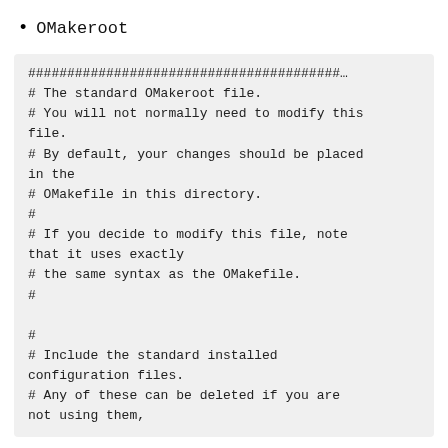OMakeroot
########################################…
# The standard OMakeroot file.
# You will not normally need to modify this file.
# By default, your changes should be placed in the
# OMakefile in this directory.
#
# If you decide to modify this file, note that it uses exactly
# the same syntax as the OMakefile.
#

#
# Include the standard installed configuration files.
# Any of these can be deleted if you are not using them,